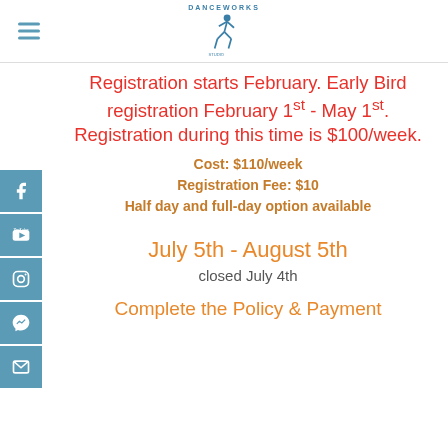[Figure (logo): DanceWorks logo with dancer figure in teal/blue]
Registration starts February. Early Bird registration February 1st - May 1st. Registration during this time is $100/week.
Cost: $110/week
Registration Fee: $10
Half day and full-day option available
July 5th - August 5th
closed July 4th
Complete the Policy & Payment